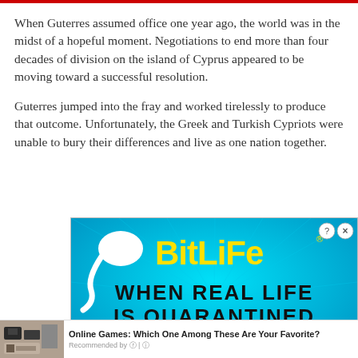When Guterres assumed office one year ago, the world was in the midst of a hopeful moment. Negotiations to end more than four decades of division on the island of Cyprus appeared to be moving toward a successful resolution.
Guterres jumped into the fray and worked tirelessly to produce that outcome. Unfortunately, the Greek and Turkish Cypriots were unable to bury their differences and live as one nation together.
[Figure (screenshot): Advertisement for BitLife mobile game. Shows the BitLife logo in yellow text on a blue background with a sperm graphic, tagline 'WHEN REAL LIFE IS QUARANTINED', colorful stars and a pencil at the bottom. Has close (X) and question mark buttons in top right.]
[Figure (screenshot): Recommendation widget showing an image of board games/electronics and text 'Online Games: Which One Among These Are Your Favorite?' with 'Recommended by' label and icons.]